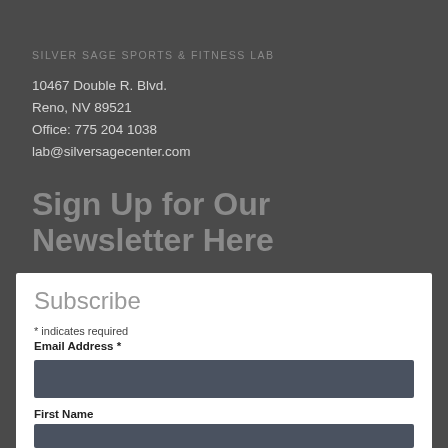SILVER SAGE SPORTS & FITNESS LAB
10467 Double R. Blvd.
Reno, NV 89521
Office: 775 204 1038
lab@silversagecenter.com
Sign Up for Our Newsletter Here
Subscribe
* indicates required
Email Address *
First Name